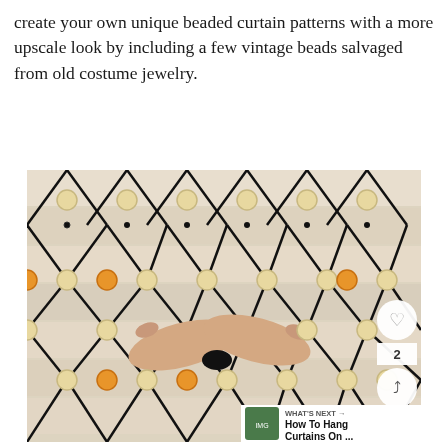create your own unique beaded curtain patterns with a more upscale look by including a few vintage beads salvaged from old costume jewelry.
[Figure (photo): Hands tying knots in a black macrame beaded curtain with wooden beads (natural and orange) against a light wood plank background. Social sharing icons (heart, share) and a 'What's Next' overlay are visible on the right side.]